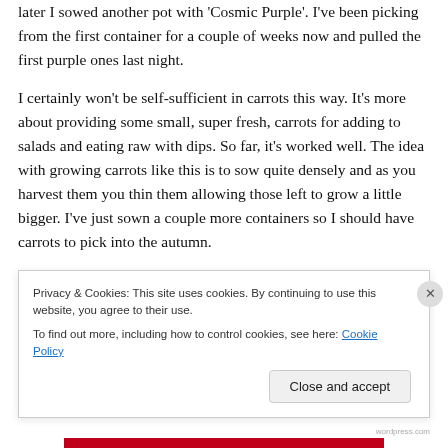later I sowed another pot with 'Cosmic Purple'. I've been picking from the first container for a couple of weeks now and pulled the first purple ones last night.

I certainly won't be self-sufficient in carrots this way. It's more about providing some small, super fresh, carrots for adding to salads and eating raw with dips. So far, it's worked well. The idea with growing carrots like this is to sow quite densely and as you harvest them you thin them allowing those left to grow a little bigger. I've just sown a couple more containers so I should have carrots to pick into the autumn.
Privacy & Cookies: This site uses cookies. By continuing to use this website, you agree to their use.
To find out more, including how to control cookies, see here: Cookie Policy